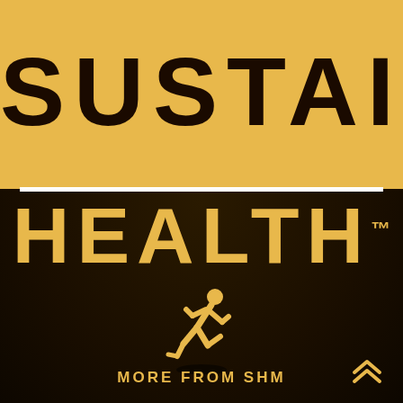[Figure (logo): Sustain Health logo. Top golden banner with bold black text SUSTAIN, white separator line, dark background with golden text HEALTH and TM superscript, golden running figure icon with shadow reflection below, MORE FROM SHM text at bottom, golden chevron arrow at bottom right.]
SUSTAIN
HEALTH™
MORE FROM SHM